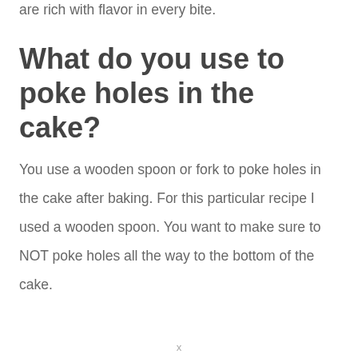are rich with flavor in every bite.
What do you use to poke holes in the cake?
You use a wooden spoon or fork to poke holes in the cake after baking. For this particular recipe I used a wooden spoon. You want to make sure to NOT poke holes all the way to the bottom of the cake.
x